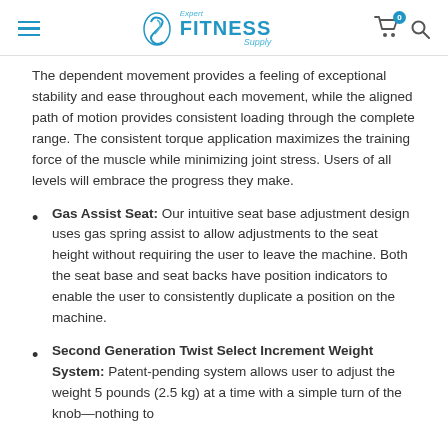Expert FITNESS Supply
The dependent movement provides a feeling of exceptional stability and ease throughout each movement, while the aligned path of motion provides consistent loading through the complete range. The consistent torque application maximizes the training force of the muscle while minimizing joint stress. Users of all levels will embrace the progress they make.
Gas Assist Seat: Our intuitive seat base adjustment design uses gas spring assist to allow adjustments to the seat height without requiring the user to leave the machine. Both the seat base and seat backs have position indicators to enable the user to consistently duplicate a position on the machine.
Second Generation Twist Select Increment Weight System: Patent-pending system allows user to adjust the weight 5 pounds (2.5 kg) at a time with a simple turn of the knob—nothing to